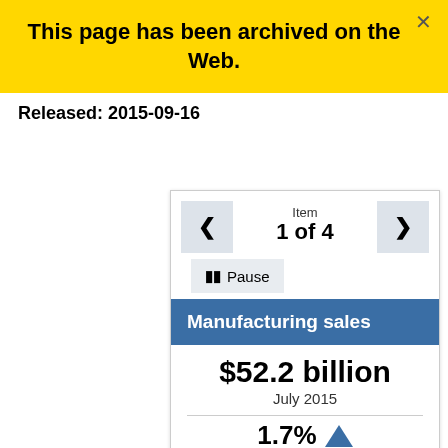This page has been archived on the Web.
Released: 2015-09-16
[Figure (infographic): Interactive carousel widget showing Item 1 of 4 with previous/next navigation buttons and a Pause button. Below is a card with blue header 'Manufacturing sales', showing '$52.2 billion' for July 2015, and a partial '1.7%' with an upward blue arrow.]